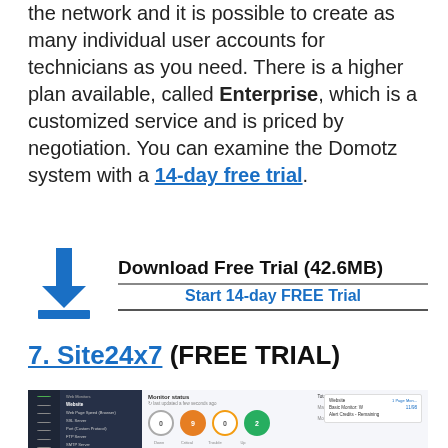the network and it is possible to create as many individual user accounts for technicians as you need. There is a higher plan available, called Enterprise, which is a customized service and is priced by negotiation. You can examine the Domotz system with a 14-day free trial.
[Figure (infographic): Download button graphic with blue arrow/tray icon, bold text 'Download Free Trial (42.6MB)', and blue subtitle 'Start 14-day FREE Trial']
7. Site24x7 (FREE TRIAL)
[Figure (screenshot): Screenshot of Site24x7 monitoring dashboard showing Monitor status panel with colored circles (0 Down, 9 Critical, 0 Trouble, 2 Up), sidebar navigation, and monitor name/response time table.]